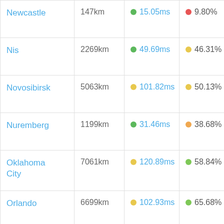| City | Distance | Latency | Percentage |
| --- | --- | --- | --- |
| Newcastle | 147km | 15.05ms | 9.80% |
| Nis | 2269km | 49.69ms | 46.31% |
| Novosibirsk | 5063km | 101.82ms | 50.13% |
| Nuremberg | 1199km | 31.46ms | 38.68% |
| Oklahoma City | 7061km | 120.89ms | 58.84% |
| Orlando | 6699km | 102.93ms | 65.68% |